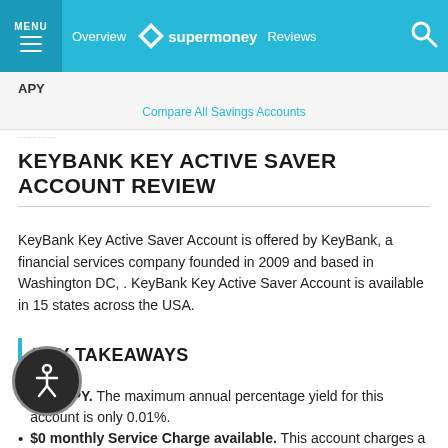MENU  Overview  supermoney  Reviews
APY
Compare All Savings Accounts
KEYBANK KEY ACTIVE SAVER ACCOUNT REVIEW
KeyBank Key Active Saver Account is offered by KeyBank, a financial services company founded in 2009 and based in Washington DC, . KeyBank Key Active Saver Account is available in 15 states across the USA.
KEY TAKEAWAYS
Low APY. The maximum annual percentage yield for this account is only 0.01%.
$0 monthly Service Charge available. This account charges a